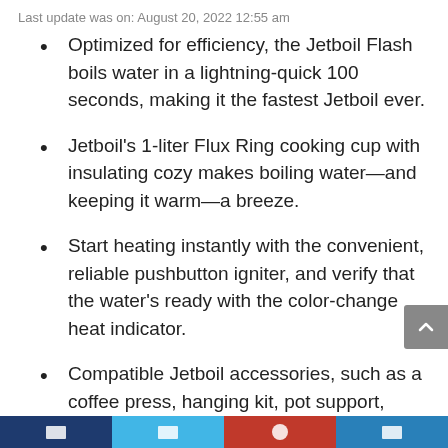Last update was on: August 20, 2022 12:55 am
Optimized for efficiency, the Jetboil Flash boils water in a lightning-quick 100 seconds, making it the fastest Jetboil ever.
Jetboil's 1-liter Flux Ring cooking cup with insulating cozy makes boiling water—and keeping it warm—a breeze.
Start heating instantly with the convenient, reliable pushbutton igniter, and verify that the water's ready with the color-change heat indicator.
Compatible Jetboil accessories, such as a coffee press, hanging kit, pot support, skillet, Flux Ring cooking pot, and utensils make this a necessity for